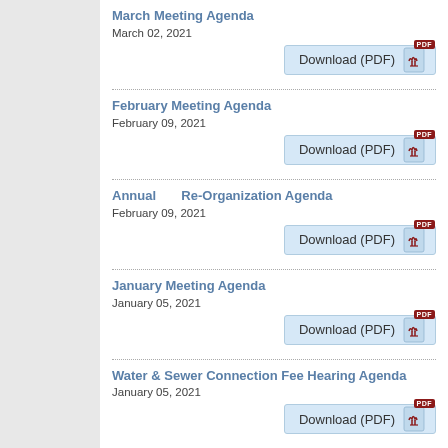March Meeting Agenda
March 02, 2021
Download (PDF)
February Meeting Agenda
February 09, 2021
Download (PDF)
Annual Re-Organization Agenda
February 09, 2021
Download (PDF)
January Meeting Agenda
January 05, 2021
Download (PDF)
Water & Sewer Connection Fee Hearing Agenda
January 05, 2021
Download (PDF)